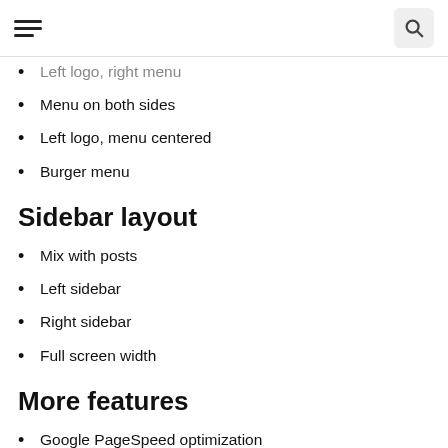[hamburger menu icon] [search icon]
Left logo, right menu
Menu on both sides
Left logo, menu centered
Burger menu
Sidebar layout
Mix with posts
Left sidebar
Right sidebar
Full screen width
More features
Google PageSpeed optimization
Easy to install and use "out of the box"